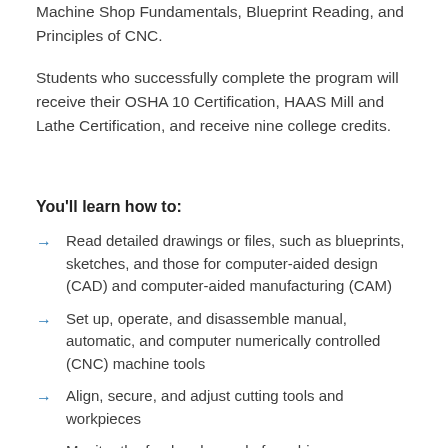Machine Shop Fundamentals, Blueprint Reading, and Principles of CNC.
Students who successfully complete the program will receive their OSHA 10 Certification, HAAS Mill and Lathe Certification, and receive nine college credits.
You'll learn how to:
Read detailed drawings or files, such as blueprints, sketches, and those for computer-aided design (CAD) and computer-aided manufacturing (CAM)
Set up, operate, and disassemble manual, automatic, and computer numerically controlled (CNC) machine tools
Align, secure, and adjust cutting tools and workpieces
Monitor the feed and speed of machines
Turn, mill, drill, shape, and grind machine parts to